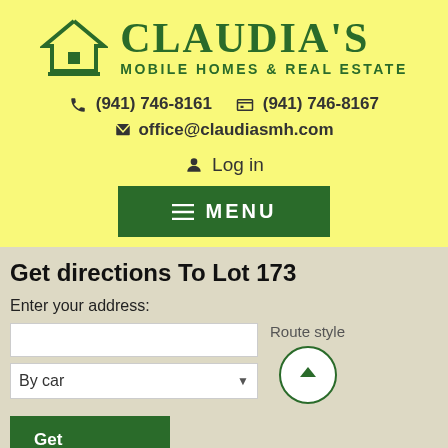[Figure (logo): Claudia's Mobile Homes & Real Estate logo with house icon in dark green]
☎ (941) 746-8161    🖨 (941) 746-8167
✈ office@claudiasmh.com
👤 Log in
≡ MENU
Get directions To Lot 173
Enter your address:
By car
Route style
Get directions